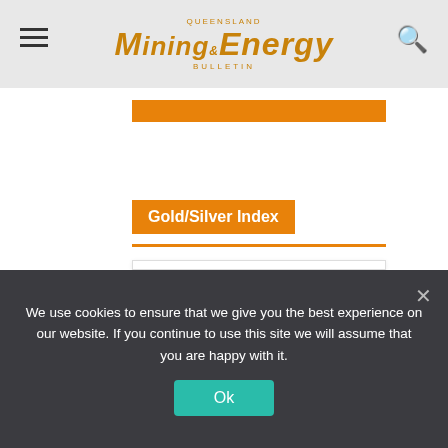Queensland Mining & Energy Bulletin
Gold/Silver Index
[Figure (continuous-plot): TradingView XAUUSD widget showing Gold Spot / U.S. Dollar price at 1747.04, down 0.65% (11.45), with a gold-colored area chart showing price history]
We use cookies to ensure that we give you the best experience on our website. If you continue to use this site we will assume that you are happy with it.